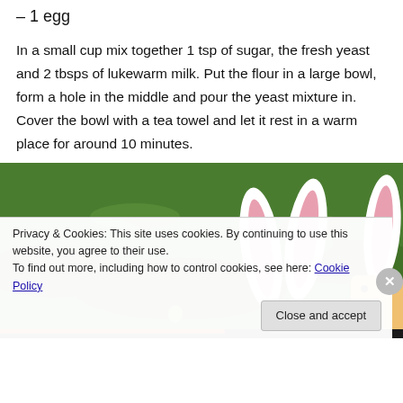– 1 egg
In a small cup mix together 1 tsp of sugar, the fresh yeast and 2 tbsps of lukewarm milk. Put the flour in a large bowl, form a hole in the middle and pour the yeast mixture in. Cover the bowl with a tea towel and let it rest in a warm place for around 10 minutes.
[Figure (photo): Photo of decorative Easter bunny ears (white with pink centers) sticking up from green grass, with another bunny decoration visible on the right side.]
Privacy & Cookies: This site uses cookies. By continuing to use this website, you agree to their use.
To find out more, including how to control cookies, see here: Cookie Policy
Close and accept